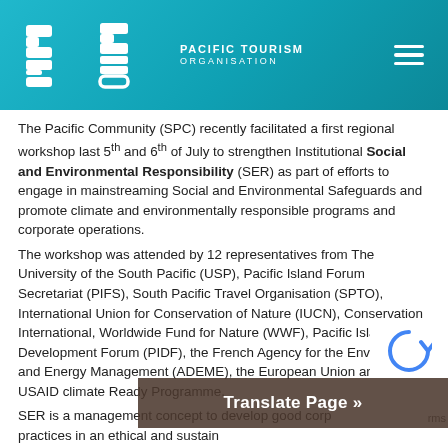PACIFIC TOURISM ORGANISATION
The Pacific Community (SPC) recently facilitated a first regional workshop last 5th and 6th of July to strengthen Institutional Social and Environmental Responsibility (SER) as part of efforts to engage in mainstreaming Social and Environmental Safeguards and promote climate and environmentally responsible programs and corporate operations.
The workshop was attended by 12 representatives from The University of the South Pacific (USP), Pacific Island Forum Secretariat (PIFS), South Pacific Travel Organisation (SPTO), International Union for Conservation of Nature (IUCN), Conservation International, Worldwide Fund for Nature (WWF), Pacific Islands Development Forum (PIDF), the French Agency for the Environment and Energy Management (ADEME), the European Union and the USAID climate Ready Programme.
SER is a management concept to develop good corporate practices in an ethical and sustainable way, managing the organisation's impacts in social, environmental and economic fields while obtaining t…